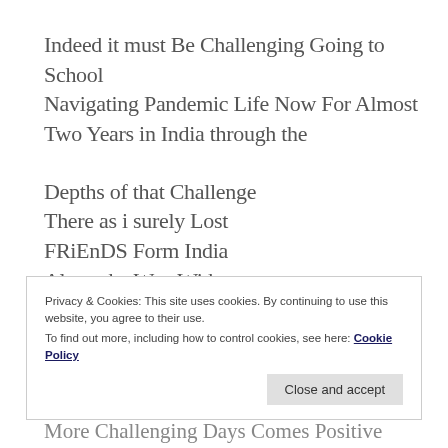Indeed it must Be Challenging Going to School Navigating Pandemic Life Now For Almost Two Years in India through the
Depths of that Challenge
There as i surely Lost
FRiEnDS Form India
Along the Way With
So Much Artistic
And Work Potential
Privacy & Cookies: This site uses cookies. By continuing to use this website, you agree to their use.
To find out more, including how to control cookies, see here: Cookie Policy
Close and accept
More Challenging Days Comes Positive